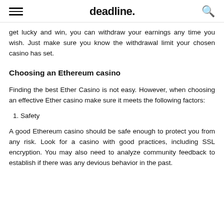deadline.
get lucky and win, you can withdraw your earnings any time you wish. Just make sure you know the withdrawal limit your chosen casino has set.
Choosing an Ethereum casino
Finding the best Ether Casino is not easy. However, when choosing an effective Ether casino make sure it meets the following factors:
1. Safety
A good Ethereum casino should be safe enough to protect you from any risk. Look for a casino with good practices, including SSL encryption. You may also need to analyze community feedback to establish if there was any devious behavior in the past.